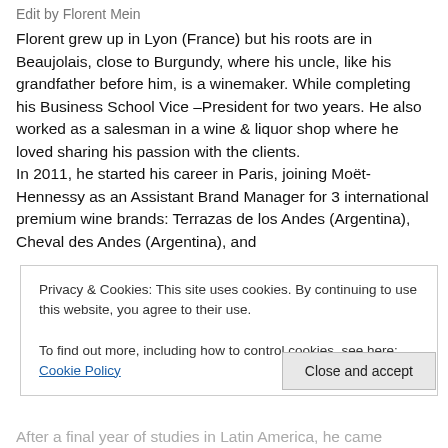Edit by Florent Mein
Florent grew up in Lyon (France) but his roots are in Beaujolais, close to Burgundy, where his uncle, like his grandfather before him, is a winemaker. While completing his Business School Vice –President for two years. He also worked as a salesman in a wine & liquor shop where he loved sharing his passion with the clients.
In 2011, he started his career in Paris, joining Moët-Hennessy as an Assistant Brand Manager for 3 international premium wine brands: Terrazas de los Andes (Argentina), Cheval des Andes (Argentina), and
Privacy & Cookies: This site uses cookies. By continuing to use this website, you agree to their use.
To find out more, including how to control cookies, see here: Cookie Policy
Close and accept
After a final year of studies in Latin America, he came